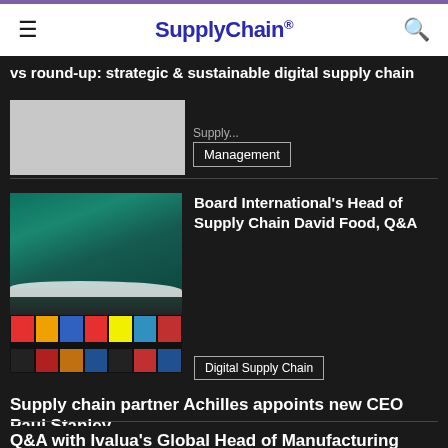SupplyChain.
vs round-up: strategic & sustainable digital supply chain
Management
[Figure (photo): Aerial view of a cargo ship loaded with colorful shipping containers on the ocean]
Board International's Head of Supply Chain David Food, Q&A
Digital Supply Chain
Supply chain partner Achilles appoints new CEO Paul Stanley
Q&A with Ivalua's Global Head of Manufacturing Sundar Kamak